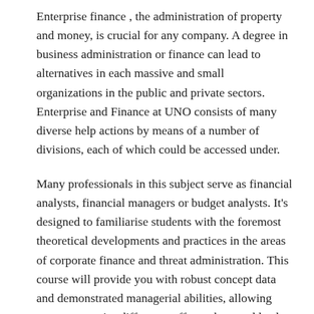Enterprise finance , the administration of property and money, is crucial for any company. A degree in business administration or finance can lead to alternatives in each massive and small organizations in the public and private sectors. Enterprise and Finance at UNO consists of many diverse help actions by means of a number of divisions, each of which could be accessed under.
Many professionals in this subject serve as financial analysts, financial managers or budget analysts. It's designed to familiarise students with the foremost theoretical developments and practices in the areas of corporate finance and threat administration. This course will provide you with robust concept data and demonstrated managerial abilities, allowing you to supervise different staff members and lead advertising campaigns.